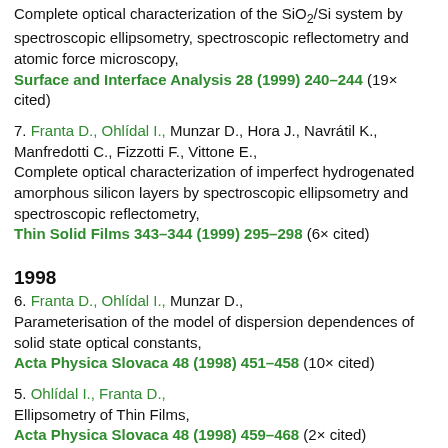Complete optical characterization of the SiO2/Si system by spectroscopic ellipsometry, spectroscopic reflectometry and atomic force microscopy, Surface and Interface Analysis 28 (1999) 240–244 (19× cited)
7. Franta D., Ohlídal I., Munzar D., Hora J., Navrátil K., Manfredotti C., Fizzotti F., Vittone E., Complete optical characterization of imperfect hydrogenated amorphous silicon layers by spectroscopic ellipsometry and spectroscopic reflectometry, Thin Solid Films 343–344 (1999) 295–298 (6× cited)
1998
6. Franta D., Ohlídal I., Munzar D., Parameterisation of the model of dispersion dependences of solid state optical constants, Acta Physica Slovaca 48 (1998) 451–458 (10× cited)
5. Ohlídal I., Franta D., Ellipsometry of Thin Films, Acta Physica Slovaca 48 (1998) 459–468 (2× cited)
4. Franta D., Ohlídal I.,